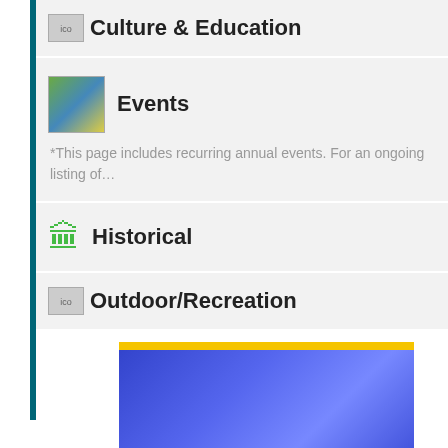Culture & Education
Events
*This page includes recurring annual events. For an ongoing listing of…
Historical
Outdoor/Recreation
[Figure (other): Blue and yellow banner at bottom of page]